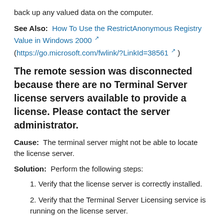back up any valued data on the computer.
See Also:  How To Use the RestrictAnonymous Registry Value in Windows 2000 ↗
(https://go.microsoft.com/fwlink/?LinkId=38561 ↗ )
The remote session was disconnected because there are no Terminal Server license servers available to provide a license. Please contact the server administrator.
Cause:  The terminal server might not be able to locate the license server.
Solution:  Perform the following steps:
1. Verify that the license server is correctly installed.
2. Verify that the Terminal Server Licensing service is running on the license server.